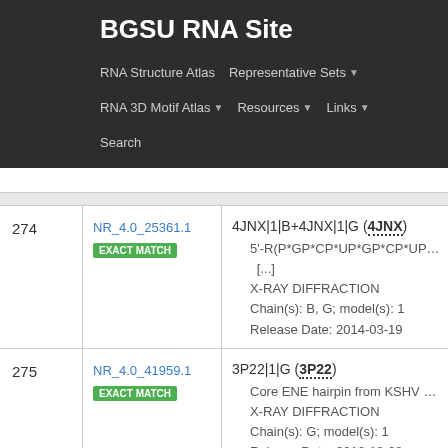BGSU RNA Site
RNA Structure Atlas  Representative Sets ▾  RNA 3D Motif Atlas ▾  Resources ▾  Links ▾  Search
| # | ID | Description |
| --- | --- | --- |
| 274 | NR_4.0_25361.1
EXACT MATCH | 4JNX|1|B+4JNX|1|G (4JNX)
• 5'-R(P*GP*CP*UP*GP*CP*UP*GP*CP*UP...[...]
• X-RAY DIFFRACTION
• Chain(s): B, G; model(s): 1
• Release Date: 2014-03-19 |
| 275 | NR_4.0_41959.1
EXACT MATCH | 3P22|1|G (3P22)
• Core ENE hairpin from KSHV PAN RNA, c...
• X-RAY DIFFRACTION
• Chain(s): G; model(s): 1
• Release Date: 2010-12-08 |
| 276 | NR_4.0_18319.1 | 4DDR|1|I (4DDR) |